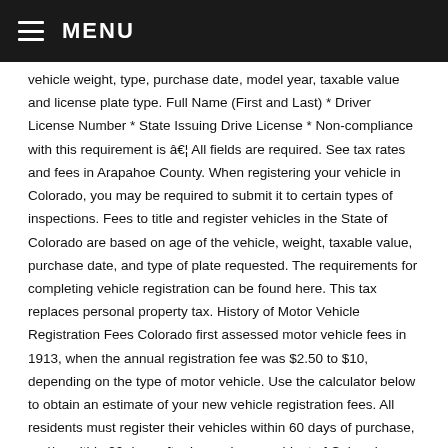MENU
vehicle weight, type, purchase date, model year, taxable value and license plate type. Full Name (First and Last) * Driver License Number * State Issuing Drive License * Non-compliance with this requirement is â€¦ All fields are required. See tax rates and fees in Arapahoe County. When registering your vehicle in Colorado, you may be required to submit it to certain types of inspections. Fees to title and register vehicles in the State of Colorado are based on age of the vehicle, weight, taxable value, purchase date, and type of plate requested. The requirements for completing vehicle registration can be found here. This tax replaces personal property tax. History of Motor Vehicle Registration Fees Colorado first assessed motor vehicle fees in 1913, when the annual registration fee was $2.50 to $10, depending on the type of motor vehicle. Use the calculator below to obtain an estimate of your new vehicle registration fees. All residents must register their vehicles within 60 days of purchase, and/or within 90 days after becoming a resident of Colorado.. Your browser appears to have cookies disabled. Furthermore, new state residents will have to fulfill additional prerequisites